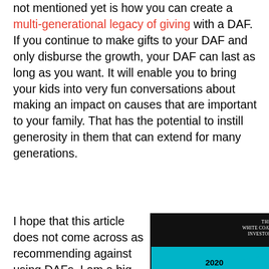not mentioned yet is how you can create a multi-generational legacy of giving with a DAF. If you continue to make gifts to your DAF and only disburse the growth, your DAF can last as long as you want. It will enable you to bring your kids into very fun conversations about making an impact on causes that are important to your family. That has the potential to instill generosity in them that can extend for many generations.
I hope that this article does not come across as recommending against using DAFs. I am a big proponent of them as part of a charitable giving
[Figure (illustration): Book cover for 'The White Coat Investor 2020 Continuing Financial Education:' with teal background, curved white design element, and black top bar with logo]